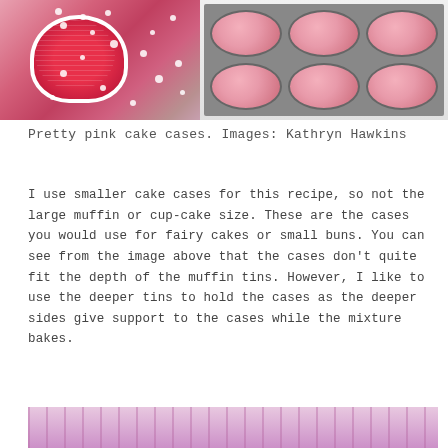[Figure (photo): Two photos side by side: left shows red and white polka dot cupcake cases stacked together on a purple surface; right shows two muffin tins lined with pink cake cases.]
Pretty pink cake cases. Images: Kathryn Hawkins
I use smaller cake cases for this recipe, so not the large muffin or cup-cake size. These are the cases you would use for fairy cakes or small buns. You can see from the image above that the cases don’t quite fit the depth of the muffin tins. However, I like to use the deeper tins to hold the cases as the deeper sides give support to the cases while the mixture bakes.
[Figure (photo): Partial view of a pink/purple background image at the bottom of the page, cropped.]